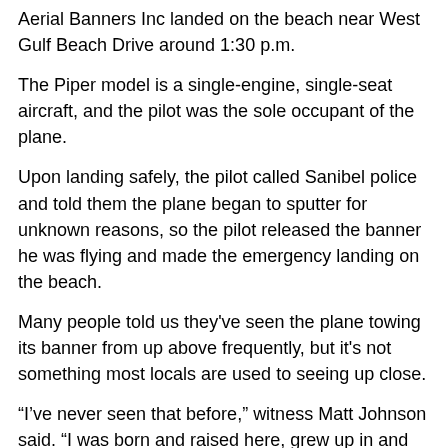Aerial Banners Inc landed on the beach near West Gulf Beach Drive around 1:30 p.m.
The Piper model is a single-engine, single-seat aircraft, and the pilot was the sole occupant of the plane.
Upon landing safely, the pilot called Sanibel police and told them the plane began to sputter for unknown reasons, so the pilot released the banner he was flying and made the emergency landing on the beach.
Many people told us they've seen the plane towing its banner from up above frequently, but it's not something most locals are used to seeing up close.
“I’ve never seen that before,” witness Matt Johnson said. “I was born and raised here, grew up in and around Sanibel and Pine Island, and I’ve never seen a plane on the beach like that.”
Witness Linda Linsmayer saw it all, from when the wheels touched down to when the plane took off back into the sky.